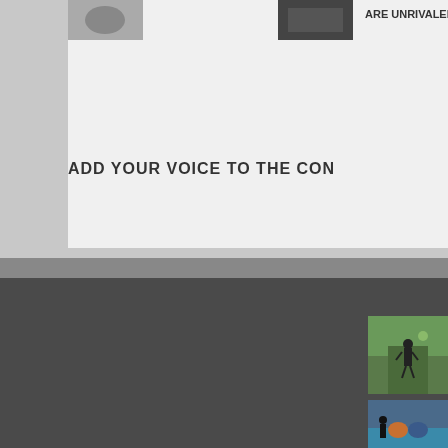ARE UNRIVALED
ADD YOUR VOICE TO THE CON
WHAT ARE YOU LOOKING FOR?
EDITOR'S FA
SPORTS
SPEED
ADVENTURE
EXTREME
GEAR & GADGETS
FUNNY
HARDCORE
FAIL
INSPIRING
ARTICLES
GALLERIES
LISTS
VIDEOS
[Figure (photo): Editor's favorite photo 1 - person doing parkour or athletic move outdoors]
[Figure (photo): Editor's favorite photo 2 - wrestling match with referee]